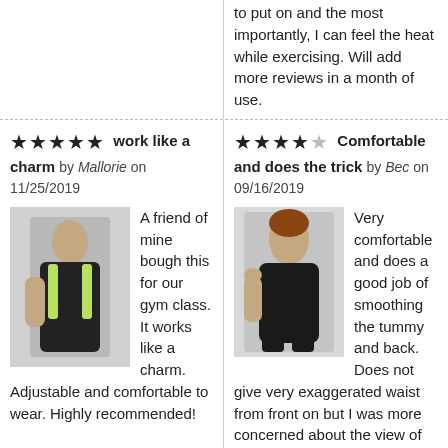importantly, I can feel the heat while exercising. Will add more reviews in a month of use.
★★★★★ work like a charm by Mallorie on 11/25/2019
★★★★☆ Comfortable and does the trick by Bec on 09/16/2019
[Figure (photo): Woman wearing black sports bra/waist trainer, showing product from side angle]
A friend of mine bough this for our gym class. It works like a charm. Adjustable and comfortable to wear. Highly recommended!
[Figure (photo): Woman wearing black shapewear/bodysuit, posed sitting]
Very comfortable and does a good job of smoothing the tummy and back. Does not give very exaggerated waist from front on but I was more concerned about the view of my tummy from the side. I got the XXL as per size chart, I am a 14/16 and wear a 34FF bra. It did "smoosh" my breasts in a way